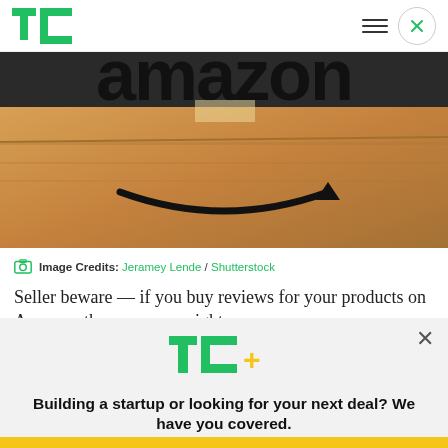TechCrunch logo, navigation menu icon, close button
[Figure (photo): Close-up photo of an Amazon branded cardboard shipping box showing the Amazon logo with arrow/smile mark, on a dark textured surface]
Image Credits: Jeramey Lende / Shutterstock
Seller beware — if you buy reviews for your products on Amazon, the company might sue you...
[Figure (infographic): TechCrunch TC+ subscription modal overlay with headline 'Building a startup or looking for your next deal? We have you covered.' and an EXPLORE NOW button]
Building a startup or looking for your next deal? We have you covered.
EXPLORE NOW